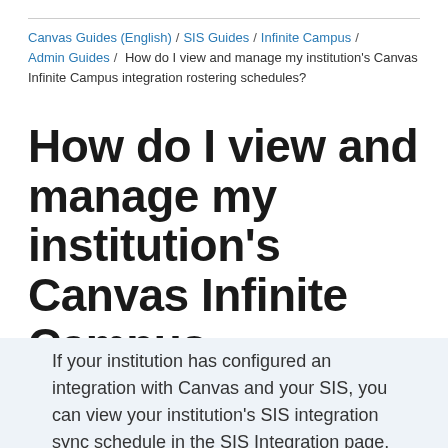Canvas Guides (English) / SIS Guides / Infinite Campus / Admin Guides / How do I view and manage my institution's Canvas Infinite Campus integration rostering schedules?
How do I view and manage my institution's Canvas Infinite Campus integration rostering schedules?
If your institution has configured an integration with Canvas and your SIS, you can view your institution's SIS integration sync schedule in the SIS Integration page.  Any rostering updates